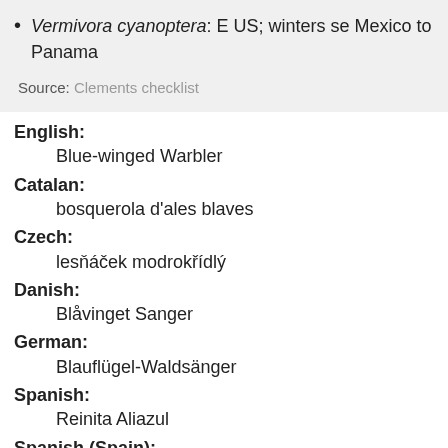Vermivora cyanoptera: E US; winters se Mexico to Panama
Source: Clements checklist
English: Blue-winged Warbler
Catalan: bosquerola d'ales blaves
Czech: lesňáček modrokřídlý
Danish: Blåvinget Sanger
German: Blauflügel-Waldsänger
Spanish: Reinita Aliazul
Spanish (Spain): Reinita Aliazul
Finnish: